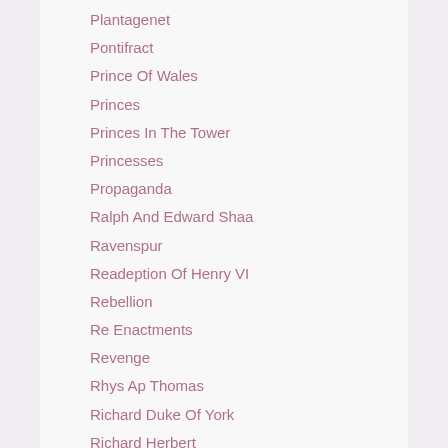Plantagenet
Pontifract
Prince Of Wales
Princes
Princes In The Tower
Princesses
Propaganda
Ralph And Edward Shaa
Ravenspur
Readeption Of Henry VI
Rebellion
Re Enactments
Revenge
Rhys Ap Thomas
Richard Duke Of York
Richard Herbert
Richard II
Richard III
Richard Neville